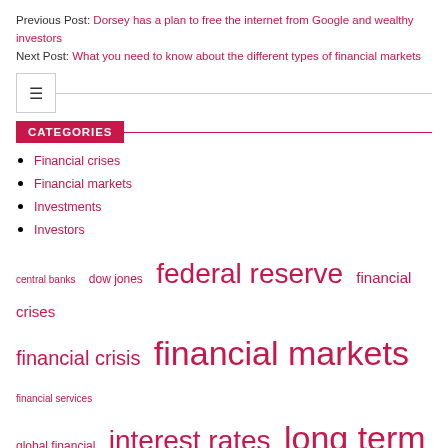Previous Post: Dorsey has a plan to free the internet from Google and wealthy investors
Next Post: What you need to know about the different types of financial markets
CATEGORIES
Financial crises
Financial markets
Investments
Investors
central banks  dow jones  federal reserve  financial crises  financial crisis  financial markets  financial services  global financial  interest rates  long term  real estate  short term  stock market